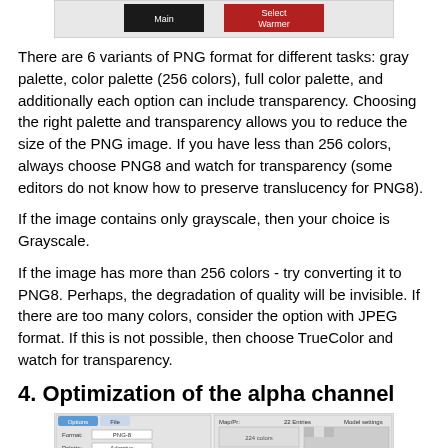[Figure (screenshot): A screenshot showing a color palette dialog with black, red/dark red color swatches labeled 'Main' and 'Select/Warmer']
There are 6 variants of PNG format for different tasks: gray palette, color palette (256 colors), full color palette, and additionally each option can include transparency. Choosing the right palette and transparency allows you to reduce the size of the PNG image. If you have less than 256 colors, always choose PNG8 and watch for transparency (some editors do not know how to preserve translucency for PNG8).
If the image contains only grayscale, then your choice is Grayscale.
If the image has more than 256 colors - try converting it to PNG8. Perhaps, the degradation of quality will be invisible. If there are too many colors, consider the option with JPEG format. If this is not possible, then choose TrueColor and watch for transparency.
4. Optimization of the alpha channel
[Figure (screenshot): A screenshot of an image editing options dialog showing PNG8 format settings with palette options and a preview of an image]